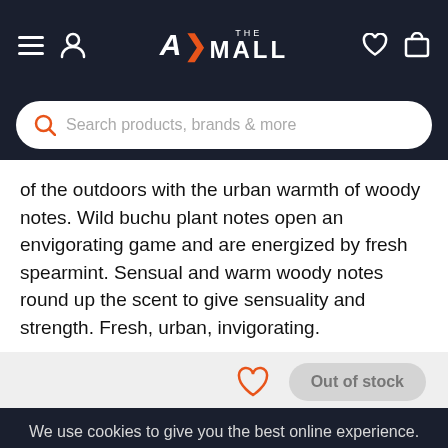AX THE MALL — navigation bar with hamburger, user, wishlist, cart icons
Search products, brands & more
of the outdoors with the urban warmth of woody notes. Wild buchu plant notes open an envigorating game and are energized by fresh spearmint. Sensual and warm woody notes round up the scent to give sensuality and strength. Fresh, urban, invigorating.
Out of stock
We use cookies to give you the best online experience. By using our website you agree to our use of cookies in accordance with our privacy policy
Continue